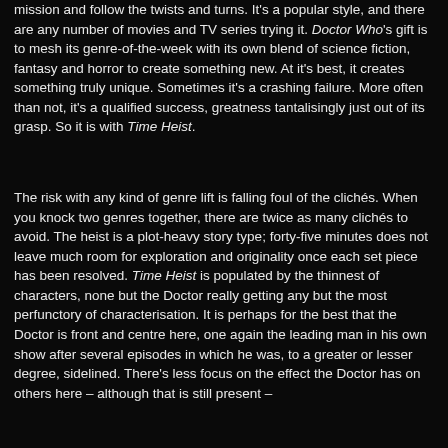mission and follow the twists and turns. It's a popular style, and there are any number of movies and TV series trying it. Doctor Who's gift is to mesh its genre-of-the-week with its own blend of science fiction, fantasy and horror to create something new. At it's best, it creates something truly unique. Sometimes it's a crashing failure. More often than not, it's a qualified success, greatness tantalisingly just out of its grasp. So it is with Time Heist.
The risk with any kind of genre lift is falling foul of the clichés. When you knock two genres together, there are twice as many clichés to avoid. The heist is a plot-heavy story type; forty-five minutes does not leave much room for exploration and originality once each set piece has been resolved. Time Heist is populated by the thinnest of characters, none but the Doctor really getting any but the most perfunctory of characterisation. It is perhaps for the best that the Doctor is front and centre here, one again the leading man in his own show after several episodes in which he was, to a greater or lesser degree, sidelined. There's less focus on the effect the Doctor has on others here – although that is still present –